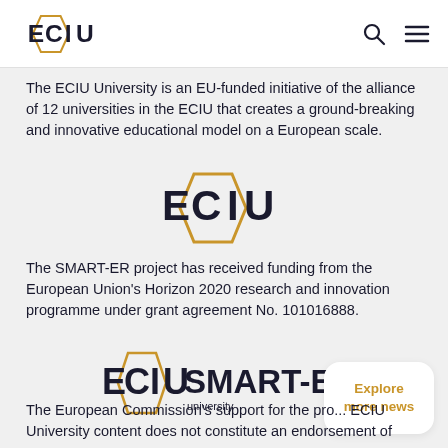ECIU [logo]
The ECIU University is an EU-funded initiative of the alliance of 12 universities in the ECIU that creates a ground-breaking and innovative educational model on a European scale.
[Figure (logo): ECIU logo — bold dark navy letters 'ECIU' with a gold diamond/parallelogram shape behind the C]
The SMART-ER project has received funding from the European Union's Horizon 2020 research and innovation programme under grant agreement No. 101016888.
[Figure (logo): ECIU SMART-ER university logo — bold dark navy 'ECIU' with gold parallelogram, followed by 'SMART-ER' in navy bold, 'university' in smaller text below]
The European Commission's support for the pro... ECIU University content does not constitute an endorsement of